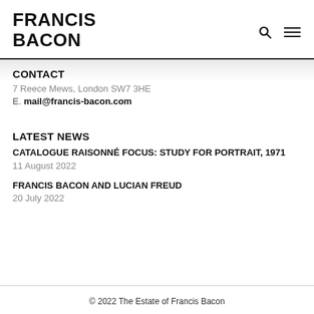FRANCIS BACON
CONTACT
7 Reece Mews, London SW7 3HE
E. mail@francis-bacon.com
LATEST NEWS
CATALOGUE RAISONNÉ FOCUS: STUDY FOR PORTRAIT, 1971
11 August 2022
FRANCIS BACON AND LUCIAN FREUD
20 July 2022
© 2022 The Estate of Francis Bacon